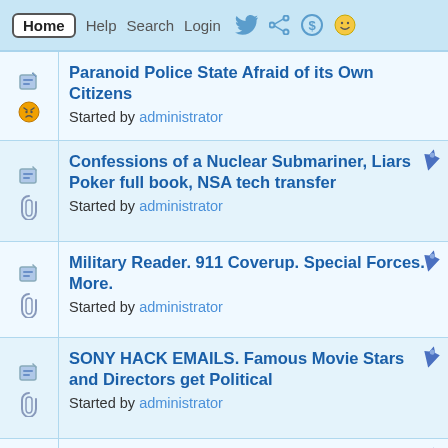Home  Help  Search  Login  Register
Paranoid Police State Afraid of its Own Citizens
Started by administrator
Confessions of a Nuclear Submariner, Liars Poker full book, NSA tech transfer
Started by administrator
Military Reader. 911 Coverup. Special Forces. More.
Started by administrator
SONY HACK EMAILS. Famous Movie Stars and Directors get Political
Started by administrator
US border agents can copy